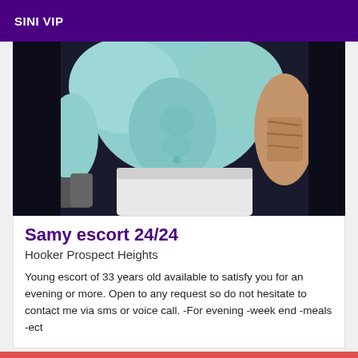SINI VIP
[Figure (photo): Photo of a person's torso wearing a light blue/teal top and white shorts, with tattoos visible on the right arm. Background is dark.]
Samy escort 24/24
Hooker Prospect Heights
Young escort of 33 years old available to satisfy you for an evening or more. Open to any request so do not hesitate to contact me via sms or voice call. -For evening -week end -meals -ect